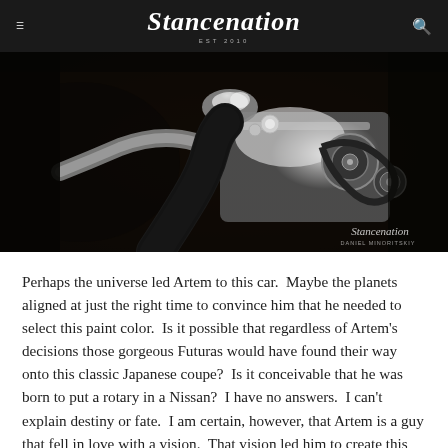Stancenation
[Figure (photo): Close-up photograph of a polished engine bay showing chrome/silver engine components, pulleys, belts, and intake pipes against a dark background. Stancenation watermark visible in bottom-right corner.]
Perhaps the universe led Artem to this car.  Maybe the planets aligned at just the right time to convince him that he needed to select this paint color.  Is it possible that regardless of Artem's decisions those gorgeous Futuras would have found their way onto this classic Japanese coupe?  Is it conceivable that he was born to put a rotary in a Nissan?  I have no answers.  I can't explain destiny or fate.  I am certain, however, that Artem is a guy that fell in love with a vision.  That vision led him to create this beautiful, unique example of an S12 Nissan Silvia for he and all of us to